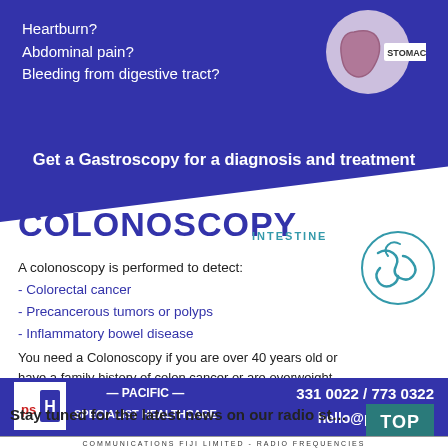Heartburn?
Abdominal pain?
Bleeding from digestive tract?
[Figure (illustration): Stomach icon in a circle with label STOMACH]
Get a Gastroscopy for a diagnosis and treatment
COLONOSCOPY
[Figure (illustration): Intestine icon in a circle with label INTESTINE]
A colonoscopy is performed to detect:
- Colorectal cancer
- Precancerous tumors or polyps
- Inflammatory bowel disease
You need a Colonoscopy if you are over 40 years old or have a family history of colon cancer or are overweight.
[Figure (logo): Pacific Specialist Healthcare logo psH]
— PACIFIC — SPECIALIST HEALTHCARE
331 0022 / 773 0322
hello@psh.com.fj
Stay tuned for the latest news on our radio st…
COMMUNICATIONS FIJI LIMITED - RADIO FREQUENCIES